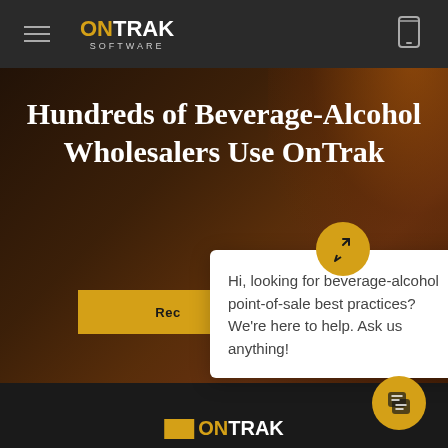ON TRAK SOFTWARE
Hundreds of Beverage-Alcohol Wholesalers Use OnTrak
Rec...
Hi, looking for beverage-alcohol point-of-sale best practices? We're here to help. Ask us anything!